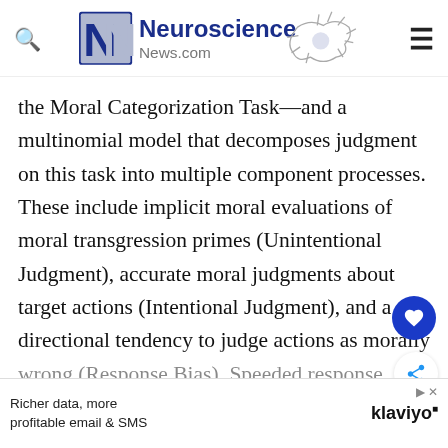Neuroscience News.com
the Moral Categorization Task—and a multinomial model that decomposes judgment on this task into multiple component processes. These include implicit moral evaluations of moral transgression primes (Unintentional Judgment), accurate moral judgments about target actions (Intentional Judgment), and a directional tendency to judge actions as morally wrong (Response Bias). Speeded response deadlines reduced Intentional Judgment but not
[Figure (other): Advertisement banner: Richer data, more profitable email & SMS - klaviyo]